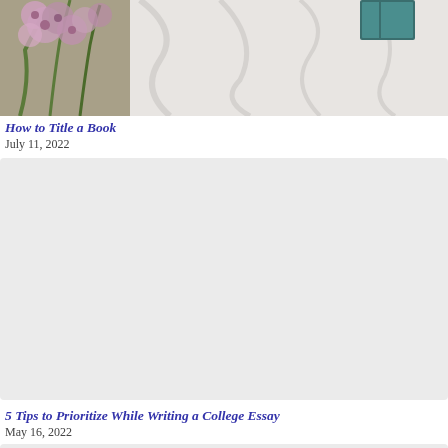[Figure (photo): Top portion of a photo showing flowers (pink/purple) on the left and white fabric/cloth with a dark book visible in the top right corner]
How to Title a Book
July 11, 2022
[Figure (photo): Large light gray placeholder image for a second article]
5 Tips to Prioritize While Writing a College Essay
May 16, 2022
[Figure (photo): Partial light gray placeholder image for a third article, cropped at bottom of page]